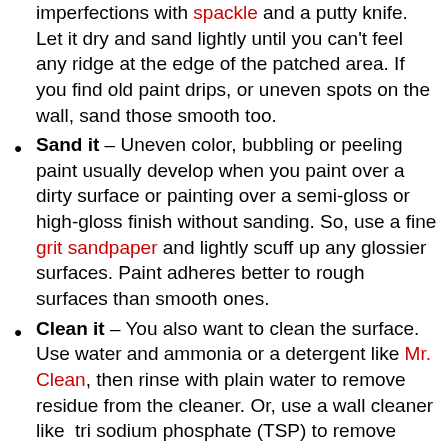imperfections with spackle and a putty knife. Let it dry and sand lightly until you can't feel any ridge at the edge of the patched area. If you find old paint drips, or uneven spots on the wall, sand those smooth too.
Sand it – Uneven color, bubbling or peeling paint usually develop when you paint over a dirty surface or painting over a semi-gloss or high-gloss finish without sanding. So, use a fine grit sandpaper and lightly scuff up any glossier surfaces. Paint adheres better to rough surfaces than smooth ones.
Clean it – You also want to clean the surface. Use water and ammonia or a detergent like Mr. Clean, then rinse with plain water to remove residue from the cleaner. Or, use a wall cleaner like tri sodium phosphate (TSP) to remove grime and gloss without leaving a residue. Let everything dry completely before working with the surface again